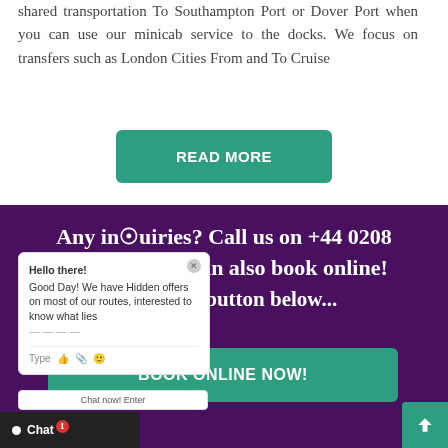shared transportation To Southampton Port or Dover Port when you can use our minicab service to the docks. We focus on transfers such as London Cities From and To Cruise
READ MORE
Any inquiries? Call us on +44 0208 75... psst... you can also book online! ...k on the button below...
[Figure (screenshot): Chat popup widget showing 'Hello there! Good Day! We have Hidden offers on most of our routes, interested to know what lies...' with a Type input bar and emoji/attachment icons]
BOOK ONLINE NOW!
Chat now! Enter
Chat (1 notification badge)